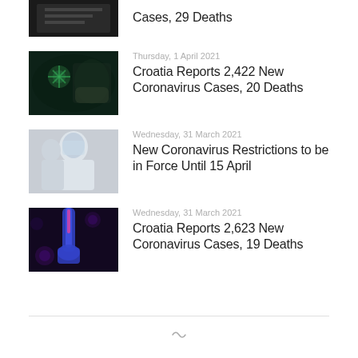[Figure (photo): Partial cropped news thumbnail at top of page, dark image]
Cases, 29 Deaths
[Figure (photo): Person wearing face mask with green coronavirus particle overlay]
Thursday, 1 April 2021
Croatia Reports 2,422 New Coronavirus Cases, 20 Deaths
[Figure (photo): Person in white protective hazmat suit]
Wednesday, 31 March 2021
New Coronavirus Restrictions to be in Force Until 15 April
[Figure (photo): Gloved hand holding test tube with purple coronavirus particles in background]
Wednesday, 31 March 2021
Croatia Reports 2,623 New Coronavirus Cases, 19 Deaths